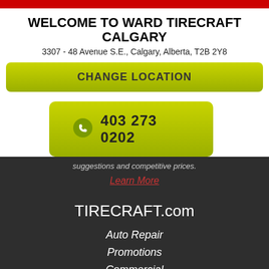WELCOME TO WARD TIRECRAFT CALGARY
3307 - 48 Avenue S.E., Calgary, Alberta, T2B 2Y8
CHANGE LOCATION
403 273 0202
suggestions and competitive prices.
Learn More
TIRECRAFT.com
Auto Repair
Promotions
Commercial
Resources
About TIRECRAFT